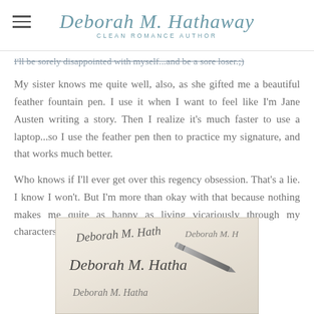Deborah M. Hathaway — CLEAN ROMANCE AUTHOR
I'll be sorely disappointed with myself...and be a sore loser.;)
My sister knows me quite well, also, as she gifted me a beautiful feather fountain pen. I use it when I want to feel like I'm Jane Austen writing a story. Then I realize it's much faster to use a laptop...so I use the feather pen then to practice my signature, and that works much better.
Who knows if I'll ever get over this regency obsession. That's a lie. I know I won't. But I'm more than okay with that because nothing makes me quite as happy as living vicariously through my characters as they experience the Regency Era firsthand.
[Figure (photo): Close-up photograph of a handwritten signature 'Deborah M. Hathaway' with a fountain pen on white paper, signature repeated multiple times on the page.]